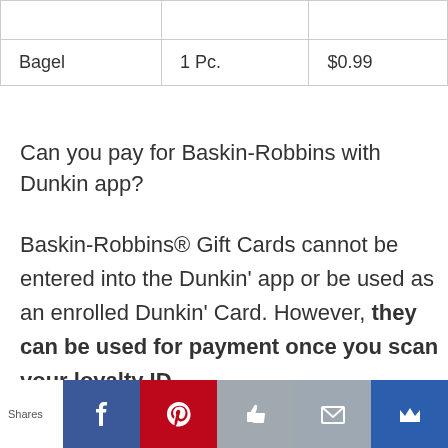|  |  |  |
| --- | --- | --- |
|  |  |  |
| Bagel | 1 Pc. | $0.99 |
Can you pay for Baskin-Robbins with Dunkin app?
Baskin-Robbins® Gift Cards cannot be entered into the Dunkin’ app or be used as an enrolled Dunkin’ Card. However, they can be used for payment once you scan your loyalty ID.
Shares [Facebook] [Pinterest] [Like] [Email] [Crown]